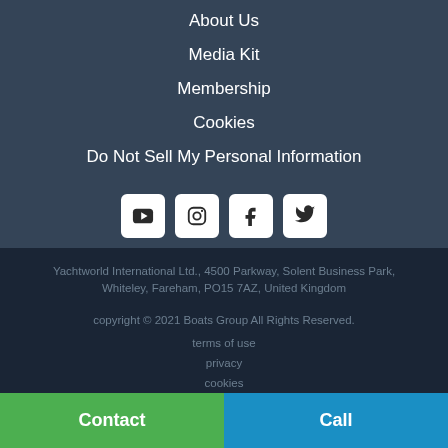About Us
Media Kit
Membership
Cookies
Do Not Sell My Personal Information
[Figure (illustration): Social media icons: YouTube, Instagram, Facebook, Twitter in white rounded square buttons]
Yachtworld International Ltd., 4500 Parkway, Solent Business Park, Whiteley, Fareham, PO15 7AZ, United Kingdom
copyright © 2021 Boats Group All Rights Reserved.
terms of use
privacy
cookies
Offered By: Yachting Solutions
Contact
Call